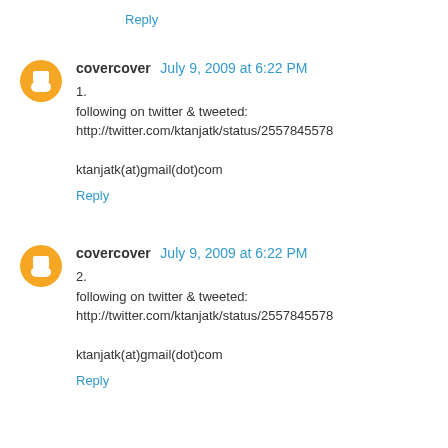Reply
covercover July 9, 2009 at 6:22 PM
1.
following on twitter & tweeted:
http://twitter.com/ktanjatk/status/2557845578

ktanjatk(at)gmail(dot)com
Reply
covercover July 9, 2009 at 6:22 PM
2.
following on twitter & tweeted:
http://twitter.com/ktanjatk/status/2557845578

ktanjatk(at)gmail(dot)com
Reply